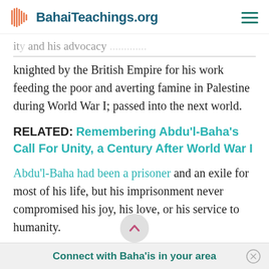BahaiTeachings.org
...ity and his advocacy... knighted by the British Empire for his work feeding the poor and averting famine in Palestine during World War I; passed into the next world.
RELATED: Remembering Abdu'l-Baha's Call For Unity, a Century After World War I
Abdu'l-Baha had been a prisoner and an exile for most of his life, but his imprisonment never compromised his joy, his love, or his service to humanity.
Connect with Baha'is in your area